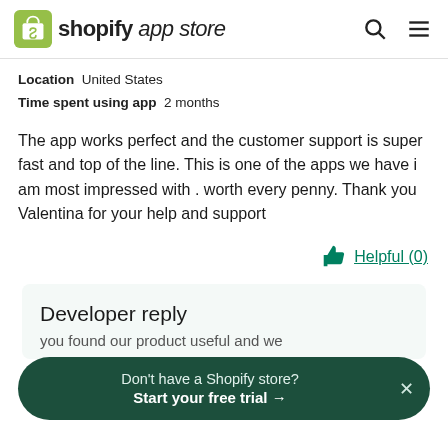shopify app store
Location  United States
Time spent using app  2 months
The app works perfect and the customer support is super fast and top of the line. This is one of the apps we have i am most impressed with . worth every penny. Thank you Valentina for your help and support
Helpful (0)
Developer reply
Don't have a Shopify store?
Start your free trial →
you found our product useful and we